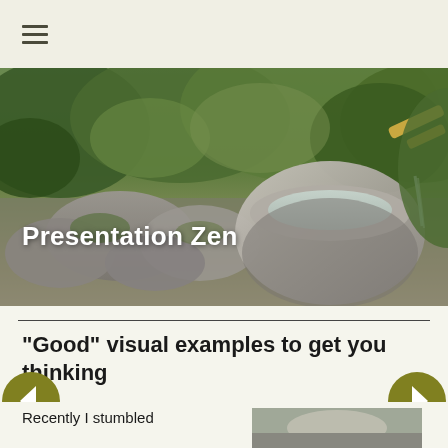≡ (hamburger menu)
[Figure (photo): Japanese zen garden with lush green plants, moss-covered rocks, a stone water basin (tsukubai) with bamboo spout pouring water, natural garden setting]
Presentation Zen
"Good" visual examples to get you thinking
Recently I stumbled